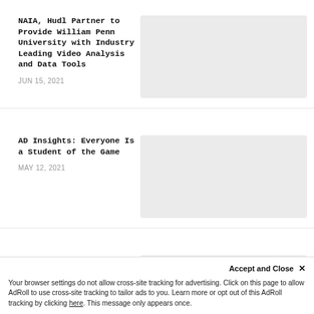NAIA, Hudl Partner to Provide William Penn University with Industry Leading Video Analysis and Data Tools
JUN 15, 2021
[Figure (photo): Article thumbnail image placeholder (light gray rectangle)]
AD Insights: Everyone Is a Student of the Game
MAY 12, 2021
[Figure (photo): Article thumbnail image placeholder (light gray rectangle)]
AD Insights: Using Setbacks to Stage Comebacks
[Figure (photo): Article thumbnail image placeholder (light gray rectangle)]
Accept and Close ✕
Your browser settings do not allow cross-site tracking for advertising. Click on this page to allow AdRoll to use cross-site tracking to tailor ads to you. Learn more or opt out of this AdRoll tracking by clicking here. This message only appears once.